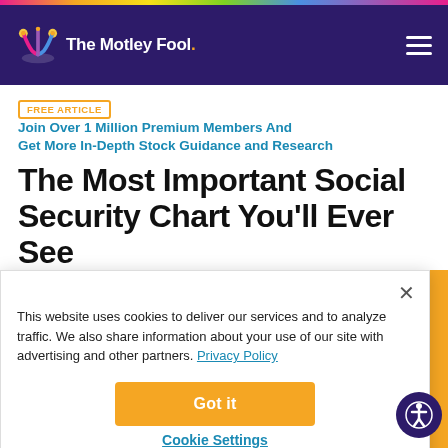The Motley Fool
FREE ARTICLE  Join Over 1 Million Premium Members And Get More In-Depth Stock Guidance and Research
The Most Important Social Security Chart You'll Ever See
This website uses cookies to deliver our services and to analyze traffic. We also share information about your use of our site with advertising and other partners. Privacy Policy
Got it
Cookie Settings